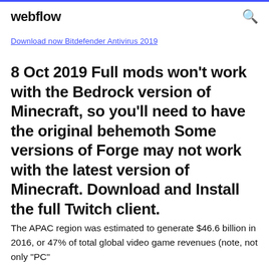webflow
Download now Bitdefender Antivirus 2019
8 Oct 2019 Full mods won't work with the Bedrock version of Minecraft, so you'll need to have the original behemoth Some versions of Forge may not work with the latest version of Minecraft. Download and Install the full Twitch client.
The APAC region was estimated to generate $46.6 billion in 2016, or 47% of total global video game revenues (note, not only "PC"